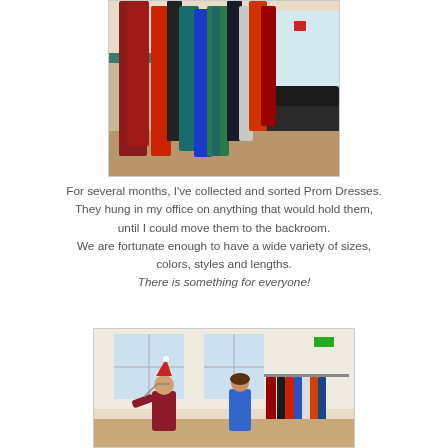[Figure (photo): Photo of colorful prom dresses hanging on a rack or hooks in an office/room, showing red, blue, green, and other colored dresses. A dark chair is visible in the background near a window.]
For several months, I've collected and sorted Prom Dresses. They hung in my office on anything that would hold them, until I could move them to the backroom. We are fortunate enough to have a wide variety of sizes, colors, styles and lengths. There is something for everyone!
[Figure (photo): Photo of two people standing in a room with prom dresses hanging on racks in the background. One person on the left is wearing a dark red/maroon top and appears to be posing, and another person on the right is wearing a blue outfit. The room has white walls and large windows.]